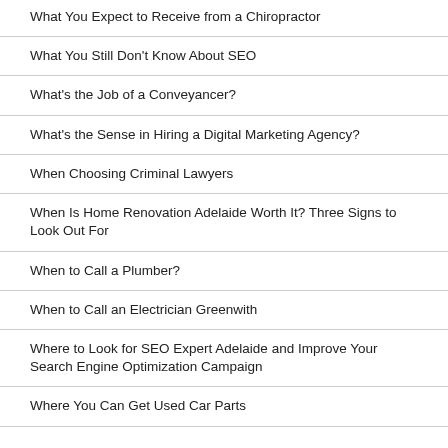What You Expect to Receive from a Chiropractor
What You Still Don't Know About SEO
What's the Job of a Conveyancer?
What's the Sense in Hiring a Digital Marketing Agency?
When Choosing Criminal Lawyers
When Is Home Renovation Adelaide Worth It? Three Signs to Look Out For
When to Call a Plumber?
When to Call an Electrician Greenwith
Where to Look for SEO Expert Adelaide and Improve Your Search Engine Optimization Campaign
Where You Can Get Used Car Parts